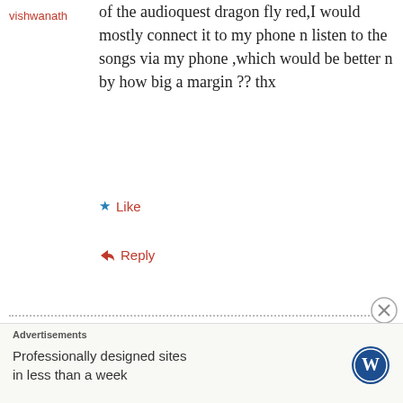vishwanath
of the audioquest dragon fly red,I would mostly connect it to my phone n listen to the songs via my phone ,which would be better n by how big a margin ?? thx
Like
Reply
[Figure (photo): Avatar photo of a person wearing a hat, standing outdoors in a landscape.]
August 5, 2016 at 14:45
Gavin Fabiani-Laymond
HiFi Plus works better with phones. Not enough volume on the Red.
Like
Advertisements
Professionally designed sites in less than a week